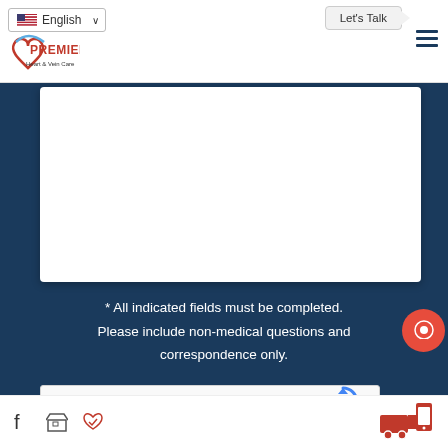[Figure (screenshot): Website header with English language selector dropdown, Let's Talk button with arrow, Premier Heart & Vein Care logo, and hamburger menu icon]
[Figure (screenshot): White content area (form fields) on dark navy background]
* All indicated fields must be completed. Please include non-medical questions and correspondence only.
[Figure (screenshot): reCAPTCHA widget with checkbox labeled I'm not a robot]
[Figure (screenshot): Footer bar with Facebook icon, store icon, heart/check icon on left; delivery/mobile icon on right; red chat bubble overlay]